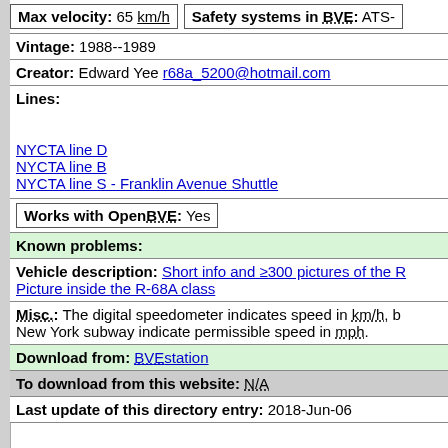Max velocity: 65 km/h   Safety systems in BVE: ATS-
Vintage: 1988--1989
Creator: Edward Yee r68a_5200@hotmail.com
Lines:
NYCTA line D
NYCTA line B
NYCTA line S - Franklin Avenue Shuttle
Works with OpenBVE: Yes
Known problems:
Vehicle description: Short info and ≥300 pictures of the R... Picture inside the R-68A class
Misc.: The digital speedometer indicates speed in km/h, b... New York subway indicate permissible speed in mph.
Download from: BVEstation
To download from this website: N/A
Last update of this directory entry: 2018-Jun-06